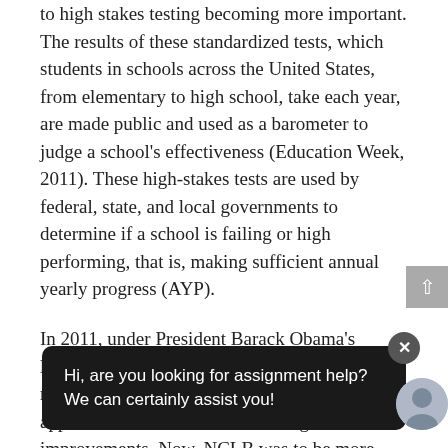to high stakes testing becoming more important. The results of these standardized tests, which students in schools across the United States, from elementary to high school, take each year, are made public and used as a barometer to judge a school's effectiveness (Education Week, 2011). These high-stakes tests are used by federal, state, and local governments to determine if a school is failing or high performing, that is, making sufficient annual yearly progress (AYP).
In 2011, under President Barack Obama's leadership, and with Congress's failure to reauthorize a revised NCLB, a different approach was taken toward making improvements. Now, NCLB was to be more flexible, offering states the opportunity to propose alternative routes to excellence. By early 2012, the first 10 applicants... approach... administration's approach to fostering excellence was titled Race to the Top (RTTT), and states found